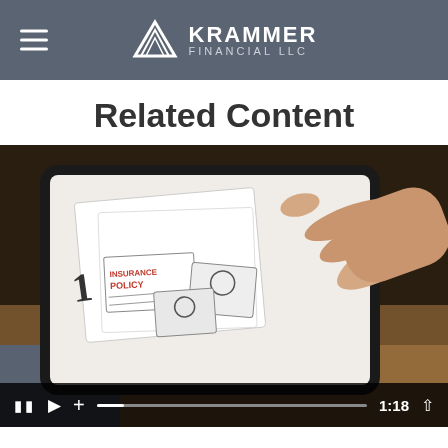KRAMMER FINANCIAL LLC
Related Content
[Figure (screenshot): Video thumbnail showing a person holding a tablet displaying hand-drawn illustrations of an insurance policy document, passport, and ID card with a number 1. Video player controls are shown at the bottom including pause, play, plus buttons, a progress bar, and a timestamp of 1:18.]